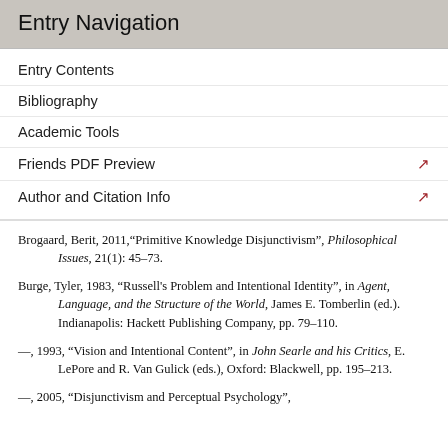Entry Navigation
Entry Contents
Bibliography
Academic Tools
Friends PDF Preview
Author and Citation Info
Brogaard, Berit, 2011,“Primitive Knowledge Disjunctivism”, Philosophical Issues, 21(1): 45–73.
Burge, Tyler, 1983, “Russell's Problem and Intentional Identity”, in Agent, Language, and the Structure of the World, James E. Tomberlin (ed.). Indianapolis: Hackett Publishing Company, pp. 79–110.
—, 1993, “Vision and Intentional Content”, in John Searle and his Critics, E. LePore and R. Van Gulick (eds.), Oxford: Blackwell, pp. 195–213.
—, 2005, “Disjunctivism and Perceptual Psychology”,